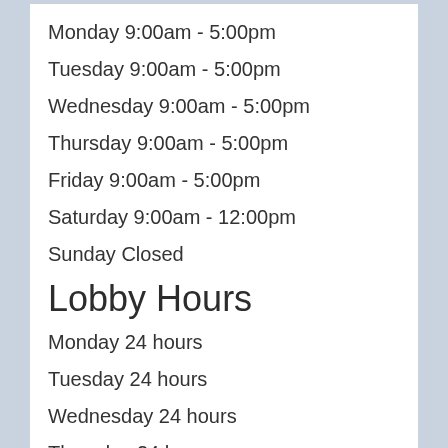Monday 9:00am - 5:00pm
Tuesday 9:00am - 5:00pm
Wednesday 9:00am - 5:00pm
Thursday 9:00am - 5:00pm
Friday 9:00am - 5:00pm
Saturday 9:00am - 12:00pm
Sunday Closed
Lobby Hours
Monday 24 hours
Tuesday 24 hours
Wednesday 24 hours
Thursday 24 hours